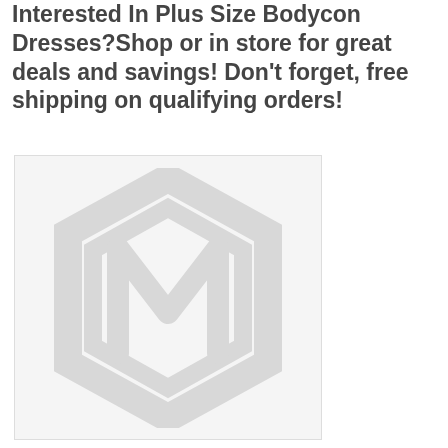Interested In Plus Size Bodycon Dresses?Shop or in store for great deals and savings! Don't forget, free shipping on qualifying orders!
[Figure (logo): Placeholder image with a faint Magento logo icon (hexagonal shape with M) on a light gray background]